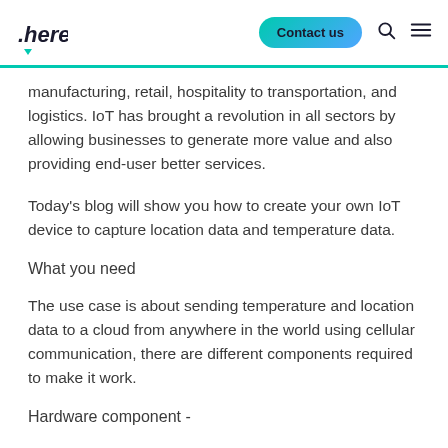.here | Contact us
manufacturing, retail, hospitality to transportation, and logistics. IoT has brought a revolution in all sectors by allowing businesses to generate more value and also providing end-user better services.
Today's blog will show you how to create your own IoT device to capture location data and temperature data.
What you need
The use case is about sending temperature and location data to a cloud from anywhere in the world using cellular communication, there are different components required to make it work.
Hardware component -